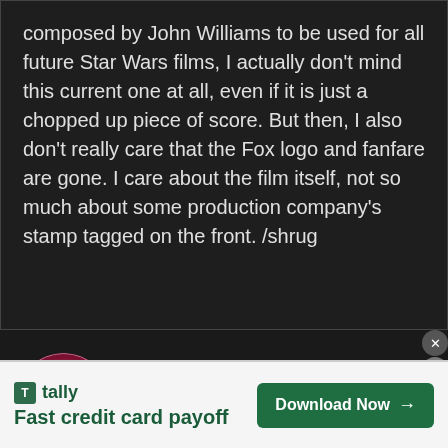composed by John Williams to be used for all future Star Wars films, I actually don't mind this current one at all, even if it is just a chopped up piece of score. But then, I also don't really care that the Fox logo and fanfare are gone. I care about the film itself, not so much about some production company's stamp tagged on the front. /shrug
Frisk
October 8, 2015 at 3:54 pm
Permalink
[Figure (illustration): Circular avatar with pink/gradient border containing a cartoon green diamond-shaped character with big eyes and a tongue]
tally Fast credit card payoff Download Now